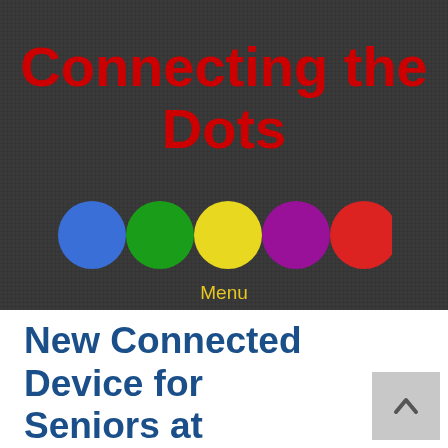Connecting the Dots
[Figure (illustration): Five colored dots in a horizontal row: blue, green, yellow, purple, and red]
Menu
New Connected Device for Seniors at